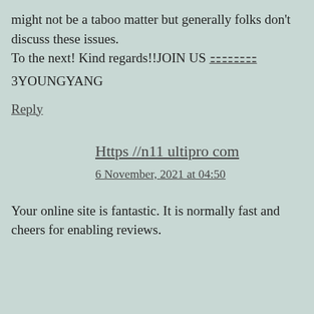might not be a taboo matter but generally folks don't discuss these issues. To the next! Kind regards!!JOIN US 🔲🔲🔲🔲
3YOUNGYANG
Reply
Https //n11 ultipro com
6 November, 2021 at 04:50
Your online site is fantastic. It is normally fast and cheers for enabling reviews.